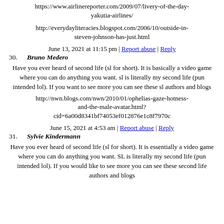https://www.airlinereporter.com/2009/07/livery-of-the-day-yakutia-airlines/
http://everydayliteracies.blogspot.com/2006/10/outside-in-steven-johnson-has-just.html
June 13, 2021 at 11:15 pm | Report abuse | Reply
30. Bruno Medero
Have you ever heard of second life (sl for short). It is basically a video game where you can do anything you want. sl is literally my second life (pun intended lol). If you want to see more you can see these sl authors and blogs
http://nwn.blogs.com/nwn/2010/01/ophelias-gaze-hotness-and-the-male-avatar.html?cid=6a00d8341bf74053ef012876e1c8f7970c
June 15, 2021 at 4:53 am | Report abuse | Reply
31. Sylvie Kindermann
Have you ever heard of second life (sl for short). It is essentially a video game where you can do anything you want. SL is literally my second life (pun intended lol). If you would like to see more you can see these second life authors and blogs